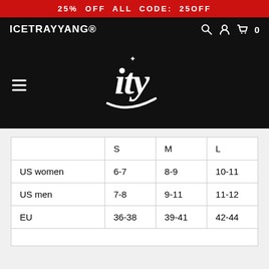25% OFF ALL CODE: 250FF
ICEТRAYYANG®
[Figure (logo): ITY brand logo in white cursive script with diamond icon on black background]
|  | S | M | L |
| --- | --- | --- | --- |
| US women | 6-7 | 8-9 | 10-11 |
| US men | 7-8 | 9-11 | 11-12 |
| EU | 36-38 | 39-41 | 42-44 |
[Figure (logo): Panda bear face logo in black and white with horizontal lines on either side]